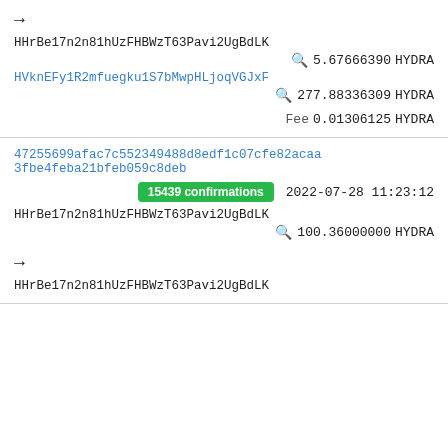→
HHrBe17n2n81hUzFHBWzT63Pavi2UgBdLK
🔍 5.67666390 HYDRA
HVknEFy1R2mfuegku1S7bMwpHLjoqVGJxF
🔍 277.88336309 HYDRA
Fee 0.01306125 HYDRA
47255699afac7c552349488d8edf1c07cfe82acaa3fbe4feba21bfeb059c8deb
15439 confirmations  2022-07-28 11:23:12
HHrBe17n2n81hUzFHBWzT63Pavi2UgBdLK
🔍 100.36000000 HYDRA
→
HHrBe17n2n81hUzFHBWzT63Pavi2UgBdLK